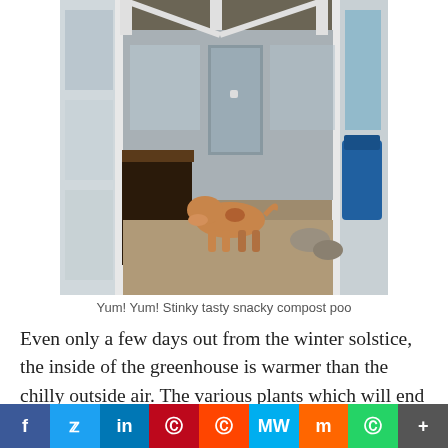[Figure (photo): Interior of a greenhouse with white frames and glass panels. A brown and white dog is sniffing the dark soil in a raised garden bed along the left wall. Sandy/gravel floor, a grey door visible at the back, and a blue container on the right side.]
Yum! Yum! Stinky tasty snacky compost poo
Even only a few days out from the winter solstice, the inside of the greenhouse is warmer than the chilly outside air. The various plants which will end up in the garden bed in the photo above, have been moved into the greenhouse and are already